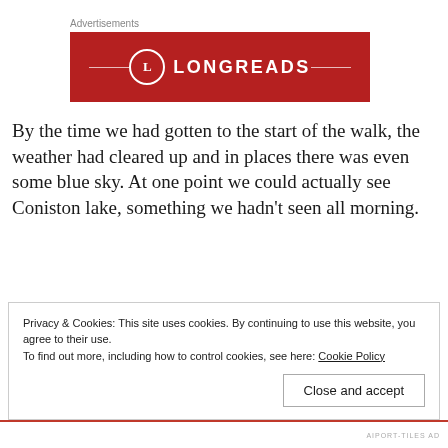Advertisements
[Figure (logo): Longreads advertisement banner — red background with circular L logo and LONGREADS text in white, decorative horizontal lines on either side]
By the time we had gotten to the start of the walk, the weather had cleared up and in places there was even some blue sky. At one point we could actually see Coniston lake, something we hadn't seen all morning.
Privacy & Cookies: This site uses cookies. By continuing to use this website, you agree to their use.
To find out more, including how to control cookies, see here: Cookie Policy
Close and accept